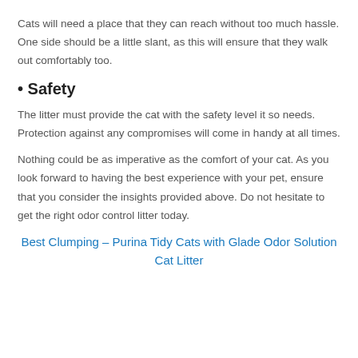Cats will need a place that they can reach without too much hassle. One side should be a little slant, as this will ensure that they walk out comfortably too.
• Safety
The litter must provide the cat with the safety level it so needs. Protection against any compromises will come in handy at all times.
Nothing could be as imperative as the comfort of your cat. As you look forward to having the best experience with your pet, ensure that you consider the insights provided above. Do not hesitate to get the right odor control litter today.
Best Clumping – Purina Tidy Cats with Glade Odor Solution Cat Litter